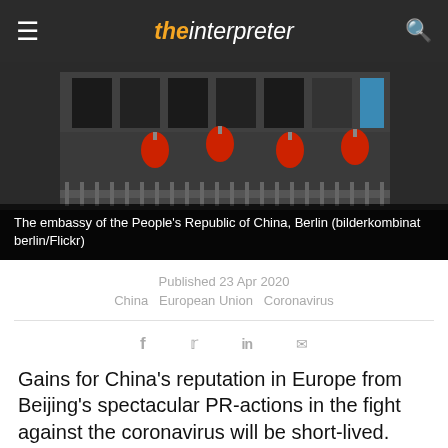the interpreter
[Figure (photo): The embassy of the People's Republic of China, Berlin, showing a dark building facade with red lanterns and metal fencing]
The embassy of the People's Republic of China, Berlin (bilderkombinat berlin/Flickr)
Published 23 Apr 2020
China  European Union  Coronavirus
Gains for China's reputation in Europe from Beijing's spectacular PR-actions in the fight against the coronavirus will be short-lived. Covid-19 has not shifted the geopolitical landscape